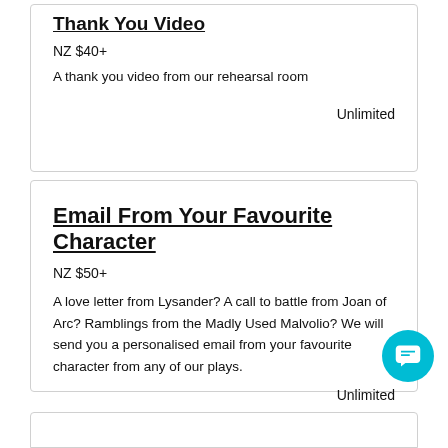Thank You Video
NZ $40+
A thank you video from our rehearsal room
Unlimited
Email From Your Favourite Character
NZ $50+
A love letter from Lysander? A call to battle from Joan of Arc? Ramblings from the Madly Used Malvolio? We will send you a personalised email from your favourite character from any of our plays.
Unlimited